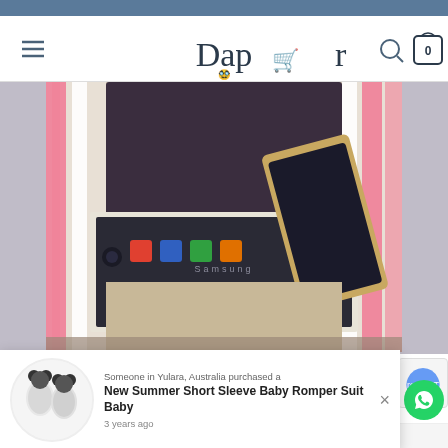[Figure (screenshot): E-commerce website screenshot showing Dapper store navigation bar with hamburger menu, Dapper logo with shopping cart icon, search icon, and cart button showing 0 items]
[Figure (photo): Interior of a pink and white chevron/striped diaper bag showing electronic devices including a tablet and smartphone stored inside, with beige/tan lining]
Someone in Yulara, Australia purchased a
New Summer Short Sleeve Baby Romper Suit Baby
3 years ago
RELA...
by Beeketing